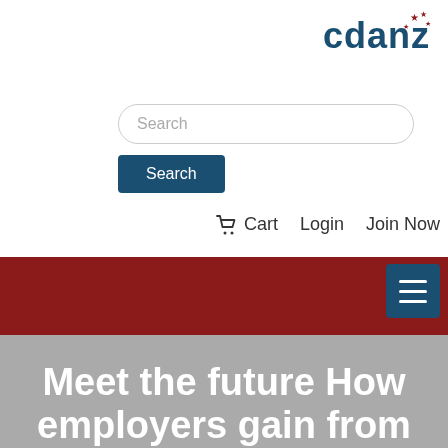[Figure (logo): CDANZ logo with dark teal text 'cdanz' and red stars above]
[Figure (screenshot): Search input field with placeholder text 'Search']
[Figure (screenshot): Dark teal 'Search' button]
Cart   Login   Join Now
[Figure (screenshot): Dark red navigation bar with dark teal hamburger menu button on right]
Meet the future How employers gain from